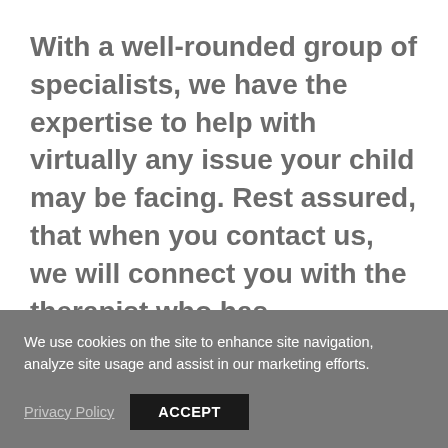With a well-rounded group of specialists, we have the expertise to help with virtually any issue your child may be facing. Rest assured, that when you contact us, we will connect you with the therapist who has experience with your child's specific challenges.
We use cookies on the site to enhance site navigation, analyze site usage and assist in our marketing efforts.
Privacy Policy   ACCEPT